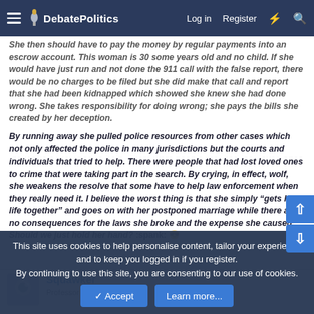DebatePolitics — Log in  Register
She then should have to pay the money by regular payments into an escrow account. This woman is 30 some years old and no child. If she would have just run and not done the 911 call with the false report, there would be no charges to be filed but she did make that call and report that she had been kidnapped which showed she knew she had done wrong. She takes responsibility for doing wrong; she pays the bills she created by her deception.

By running away she pulled police resources from other cases which not only affected the police in many jurisdictions but the courts and individuals that tried to help. There were people that had lost loved ones to crime that were taking part in the search. By crying, in effect, wolf, she weakens the resolve that some have to help law enforcement when they really need it. I believe the worst thing is that she simply "gets her life together" and goes on with her postponed marriage while there are no consequences for the laws she broke and the expense she caused. Should we just hold her hand? :spank: 😎
Squawker
Professor  DP Veteran
This site uses cookies to help personalise content, tailor your experience and to keep you logged in if you register.
By continuing to use this site, you are consenting to our use of cookies.